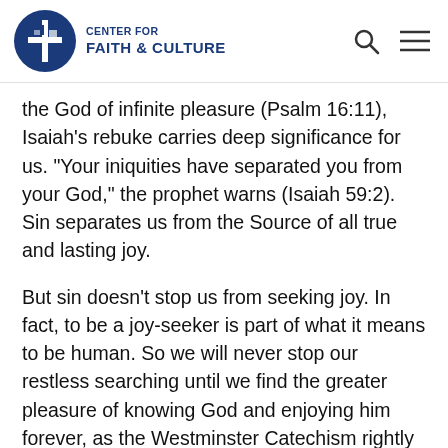CENTER FOR FAITH & CULTURE
the God of infinite pleasure (Psalm 16:11), Isaiah’s rebuke carries deep significance for us. “Your iniquities have separated you from your God,” the prophet warns (Isaiah 59:2). Sin separates us from the Source of all true and lasting joy.
But sin doesn’t stop us from seeking joy. In fact, to be a joy-seeker is part of what it means to be human. So we will never stop our restless searching until we find the greater pleasure of knowing God and enjoying him forever, as the Westminster Catechism rightly summarizes.